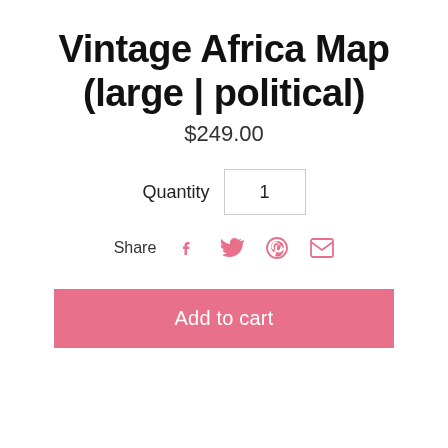Vintage Africa Map (large | political)
$249.00
Quantity  1
Share
Add to cart